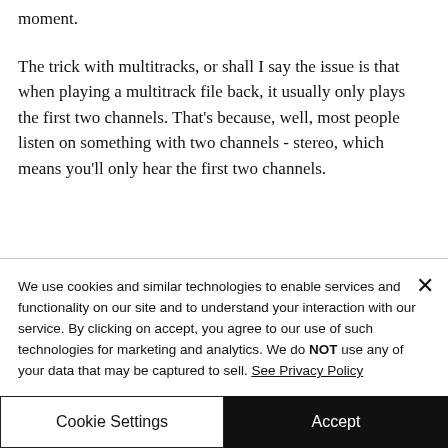moment.
The trick with multitracks, or shall I say the issue is that when playing a multitrack file back, it usually only plays the first two channels. That's because, well, most people listen on something with two channels - stereo, which means you'll only hear the first two channels.
We use cookies and similar technologies to enable services and functionality on our site and to understand your interaction with our service. By clicking on accept, you agree to our use of such technologies for marketing and analytics. We do NOT use any of your data that may be captured to sell. See Privacy Policy